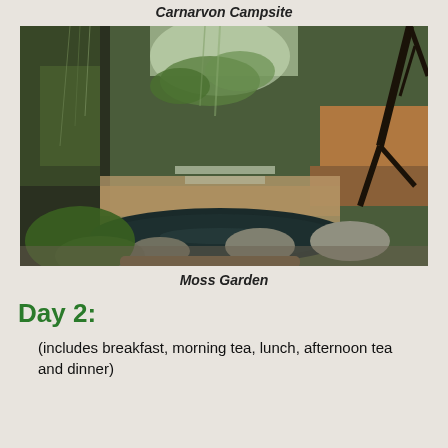Carnarvon Campsite
[Figure (photo): A lush moss-covered gorge with a small dark reflecting pool, sandstone rock walls, ferns and tropical vegetation, with a bare branching tree on the right side. The scene is at Moss Garden.]
Moss Garden
Day 2:
(includes breakfast, morning tea, lunch, afternoon tea and dinner)